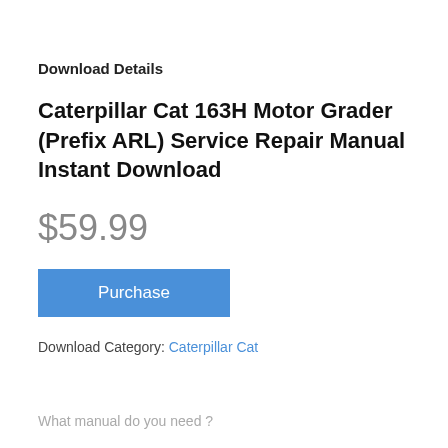Download Details
Caterpillar Cat 163H Motor Grader (Prefix ARL) Service Repair Manual Instant Download
$59.99
Purchase
Download Category: Caterpillar Cat
What manual do you need ?